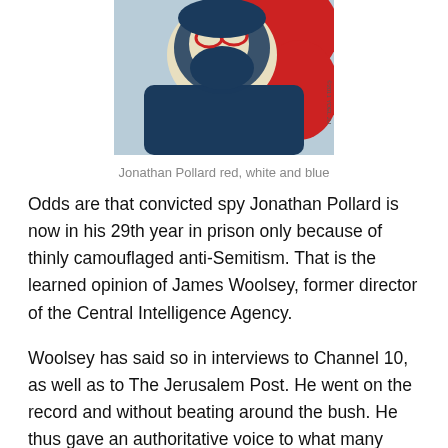[Figure (illustration): Stylized red, white and blue poster-style portrait of Jonathan Pollard, similar to the Obama 'Hope' poster aesthetic. The figure has a beard and glasses, rendered in blue, red, and light cream colors.]
Jonathan Pollard red, white and blue
Odds are that convicted spy Jonathan Pollard is now in his 29th year in prison only because of thinly camouflaged anti-Semitism. That is the learned opinion of James Woolsey, former director of the Central Intelligence Agency.
Woolsey has said so in interviews to Channel 10, as well as to The Jerusalem Post. He went on the record and without beating around the bush. He thus gave an authoritative voice to what many suspected and hinted at for years.